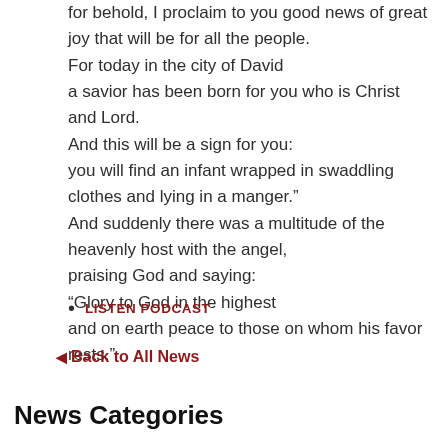for behold, I proclaim to you good news of great joy that will be for all the people.
For today in the city of David
a savior has been born for you who is Christ and Lord.
And this will be a sign for you:
you will find an infant wrapped in swaddling clothes and lying in a manger."
And suddenly there was a multitude of the heavenly host with the angel,
praising God and saying:
“Glory to God in the highest
and on earth peace to those on whom his favor rests.”
LISTEN PODCAST
Back to All News
News Categories